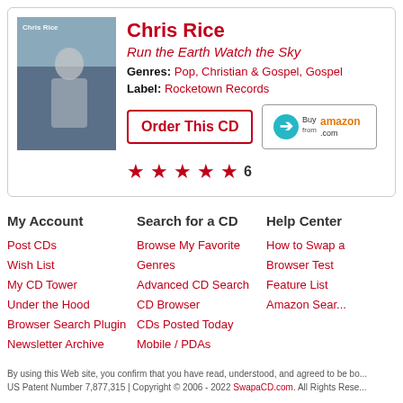[Figure (photo): Album cover for Chris Rice - Run the Earth Watch the Sky, showing a greyscale/blue-tinted photo of a man with glasses]
Chris Rice
Run the Earth Watch the Sky
Genres: Pop, Christian & Gospel, Gospel
Label: Rocketown Records
Order This CD
[Figure (logo): Buy from Amazon.com button]
★★★★★ 6
My Account
Post CDs
Wish List
My CD Tower
Under the Hood
Browser Search Plugin
Newsletter Archive
Search for a CD
Browse My Favorite Genres
Advanced CD Search
CD Browser
CDs Posted Today
Mobile / PDAs
Help Center
How to Swap a
Browser Test
Feature List
Amazon Sear...
By using this Web site, you confirm that you have read, understood, and agreed to be bo... US Patent Number 7,877,315 | Copyright © 2006 - 2022 SwapaCD.com. All Rights Rese...